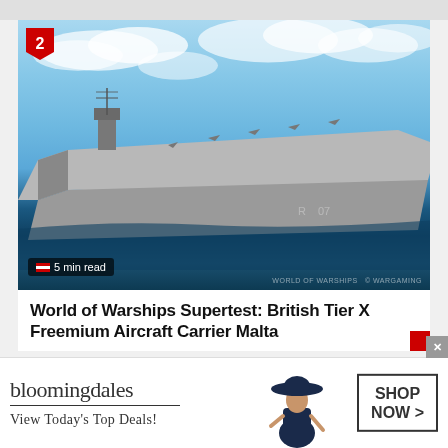[Figure (photo): Aerial/overhead view of a British aircraft carrier (Malta) at sea, with aircraft on deck, blue sky with clouds above, dark ocean water below. Number badge '2' in red at top-left. '5 min read' badge at bottom-left.]
World of Warships Supertest: British Tier X Freemium Aircraft Carrier Malta
[Figure (photo): Bloomingdales advertisement banner showing the Bloomingdales logo, tagline 'View Today's Top Deals!', a model in a wide-brim hat, and a 'SHOP NOW >' call-to-action button.]